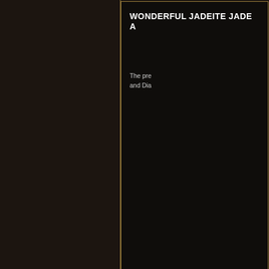WONDERFUL JADEITE JADE A
The pre and Dia
MOONSTONE AND DIAMOND 1
This dra created